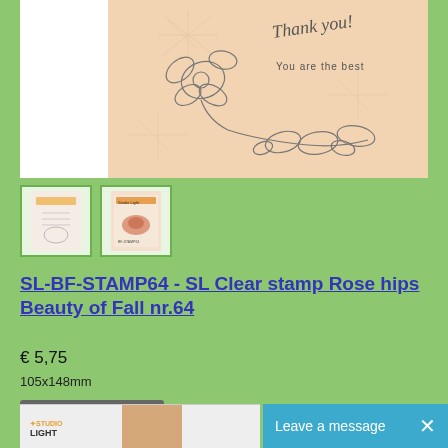[Figure (photo): Product image showing a clear stamp with floral design (rose hips/flowers) and text 'Thank you!' and 'You are the best' on a peach/beige background]
[Figure (photo): Thumbnail 1: Clear stamp product shown with floral design]
[Figure (photo): Thumbnail 2: Studio Light product packaging shown]
SL-BF-STAMP64 - SL Clear stamp Rose hips Beauty of Fall nr.64
€ 5,75
105x148mm
In winkelwagen
[Figure (photo): Bottom bar with Studio Light logo and partial product image]
Leave a message